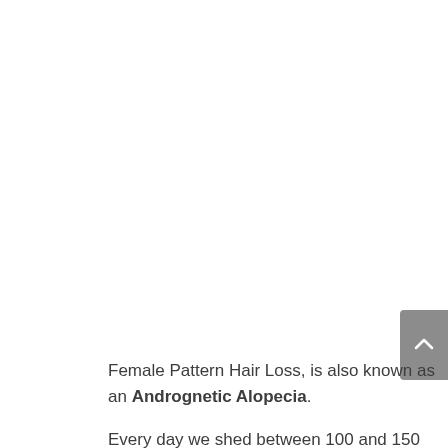[Figure (other): Scroll-to-top button (grey rounded rectangle with upward chevron arrow) positioned at right edge of page]
Female Pattern Hair Loss, is also known as an Andrognetic Alopecia. Every day we shed between 100 and 150 hairs